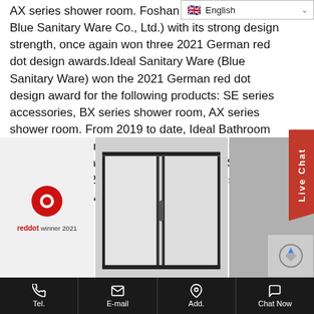[Figure (screenshot): Language selector dropdown showing English with UK flag and chevron]
AX series shower room. Foshan ... Ltd (Foshan Blue Sanitary Ware Co., Ltd.) with its strong design strength, once again won three 2021 German red dot design awards.Ideal Sanitary Ware (Blue Sanitary Ware) won the 2021 German red dot design award for the following products: SE series accessories, BX series shower room, AX series shower room. From 2019 to date, Ideal Bathroom has won 29 international design awards, including the 2021 German Iconic Design Award – Supreme Award and the 2021 German National Design Award – Gold Award.
[Figure (screenshot): Live Chat vertical red tab on the right side]
[Figure (photo): Red dot winner 2021 award badge with red dot logo on white background]
[Figure (photo): BX or AX series shower room with dark frame sliding glass door panels]
[Figure (photo): Partial view of shower room or product, darker gray background]
Tel.   E-mail   Add.   Chat Now